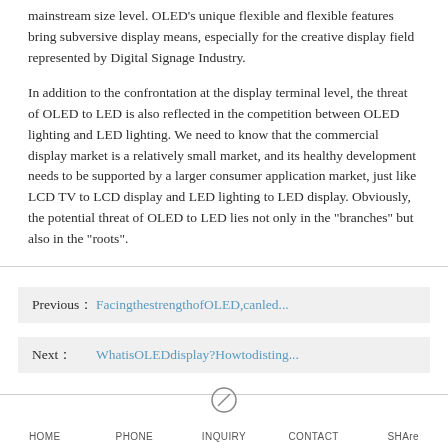mainstream size level. OLED's unique flexible and flexible features bring subversive display means, especially for the creative display field represented by Digital Signage Industry.
In addition to the confrontation at the display terminal level, the threat of OLED to LED is also reflected in the competition between OLED lighting and LED lighting. We need to know that the commercial display market is a relatively small market, and its healthy development needs to be supported by a larger consumer application market, just like LCD TV to LCD display and LED lighting to LED display. Obviously, the potential threat of OLED to LED lies not only in the "branches" but also in the "roots".
Previous： FacingthestrengthofOLED,canled...
Next： WhatisOLEDdisplay?Howtodisting...
HOME   PHONE   INQUIRY   CONTACT   SHAre